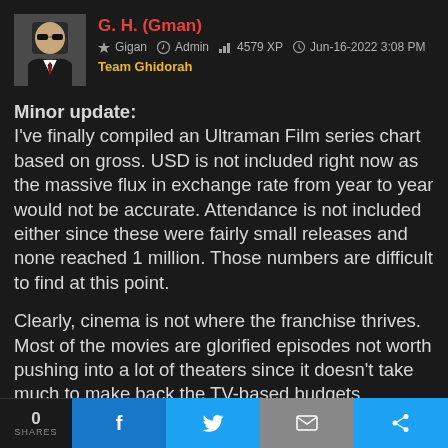[Figure (photo): Avatar photo of user G.H. (Gman) showing a man in suit and sunglasses]
G. H. (Gman)
Gigan  Admin  4579 XP  Jun-16-2022 3:08 PM
Team Ghidorah
Minor update:
I've finally compiled an Ultraman Film series chart based on gross. USD is not included right now as the massive flux in exchange rate from year to year would not be accurate. Attendance is not included either since these were fairly small releases and none reached 1 million. Those numbers are difficult to find at this point.

Clearly, cinema is not where the franchise thrives. Most of the movies are glorified episodes not worth pushing into a lot of theaters since it doesn't take much to make back the TV-based budgets. Additionally, Toho's distribution was critical to Shin Ultraman's success. Toho owns the majority of
0 SHARES  f  (Twitter)  (Email)  (Share)